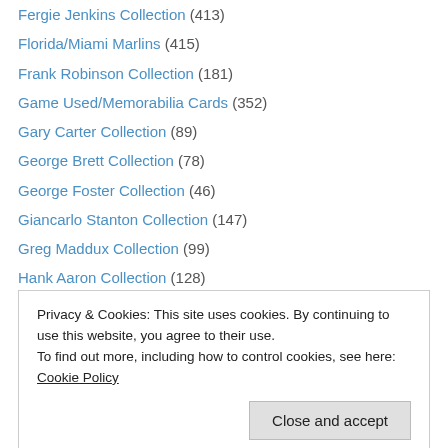Fergie Jenkins Collection (413)
Florida/Miami Marlins (415)
Frank Robinson Collection (181)
Game Used/Memorabilia Cards (352)
Gary Carter Collection (89)
George Brett Collection (78)
George Foster Collection (46)
Giancarlo Stanton Collection (147)
Greg Maddux Collection (99)
Hank Aaron Collection (128)
Jim Abbott Collection (66)
Jim Palmer Collection (358)
Jim Rice Collection (39)
Privacy & Cookies: This site uses cookies. By continuing to use this website, you agree to their use. To find out more, including how to control cookies, see here: Cookie Policy
Lee Smith Collection (39)